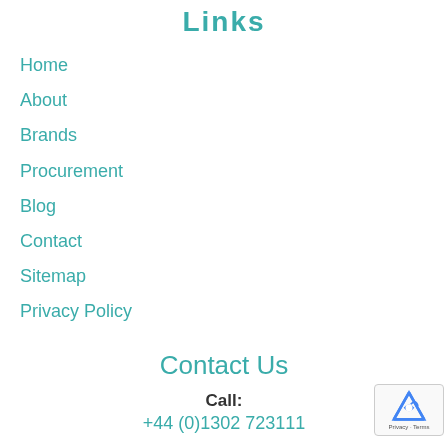Links
Home
About
Brands
Procurement
Blog
Contact
Sitemap
Privacy Policy
Contact Us
Call:
+44 (0)1302 723111